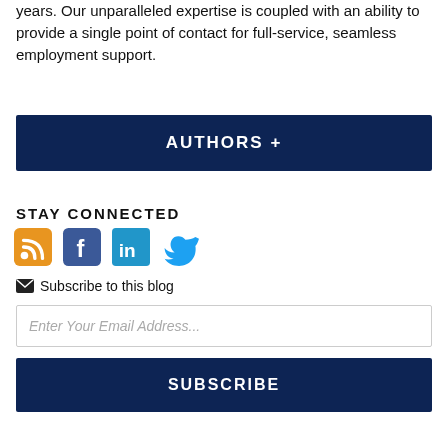years. Our unparalleled expertise is coupled with an ability to provide a single point of contact for full-service, seamless employment support.
AUTHORS +
STAY CONNECTED
[Figure (other): Social media icons: RSS feed (orange), Facebook (blue), LinkedIn (blue), Twitter (blue bird)]
Subscribe to this blog
Enter Your Email Address...
SUBSCRIBE